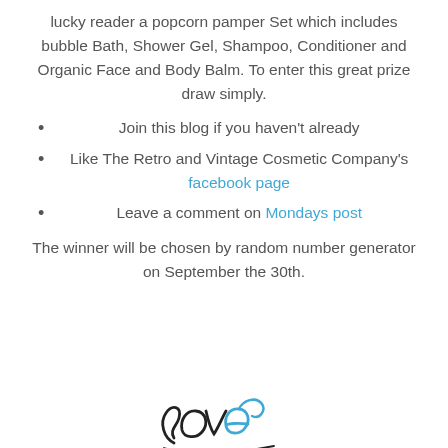lucky reader a popcorn pamper Set which includes bubble Bath, Shower Gel, Shampoo, Conditioner and Organic Face and Body Balm. To enter this great prize draw simply.
Join this blog if you haven't already
Like The Retro and Vintage Cosmetic Company's facebook page
Leave a comment on Mondays post
The winner will be chosen by random number generator on September the 30th.
[Figure (illustration): Stylized cursive 'love' signature/logo in black and blue ink style]